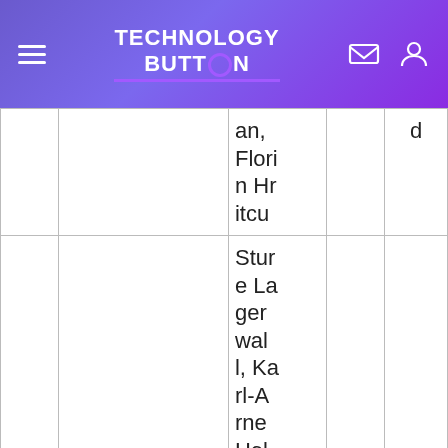Technology Button
|  |  | an, Florin Hritcu |  | d |
| The guests | Thriller; | Sture Lagerwal, Karl-Arne Hol | 5. | Marc |